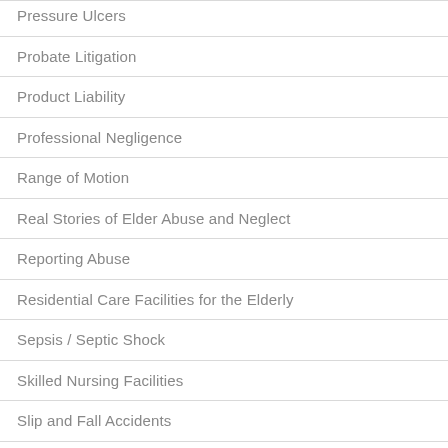Pressure Ulcers
Probate Litigation
Product Liability
Professional Negligence
Range of Motion
Real Stories of Elder Abuse and Neglect
Reporting Abuse
Residential Care Facilities for the Elderly
Sepsis / Septic Shock
Skilled Nursing Facilities
Slip and Fall Accidents